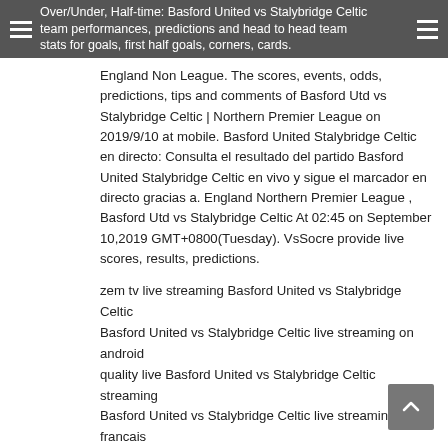Over/Under, Half-time: Basford United vs Stalybridge Celtic team performances, predictions and head to head team stats for goals, first half goals, corners, cards.
Over/Under, Half-time: Basford United vs Stalybridge Celtic team performances, predictions and head to head team stats for goals, first half goals, corners, cards. England Non League. The scores, events, odds, predictions, tips and comments of Basford Utd vs Stalybridge Celtic | Northern Premier League on 2019/9/10 at mobile. Basford United Stalybridge Celtic en directo: Consulta el resultado del partido Basford United Stalybridge Celtic en vivo y sigue el marcador en directo gracias a. England Northern Premier League , Basford Utd vs Stalybridge Celtic At 02:45 on September 10,2019 GMT+0800(Tuesday). VsSocre provide live scores, results, predictions.
zem tv live streaming Basford United vs Stalybridge Celtic
Basford United vs Stalybridge Celtic live streaming on android
quality live Basford United vs Stalybridge Celtic streaming
Basford United vs Stalybridge Celtic live streaming en francais
Basford United vs Stalybridge Celtic live stream good quality
Basford United vs Stalybridge Celtic live streaming world cup
Basford United vs Stalybridge Celtic live streaming usa
Basford United vs Stalybridge Celtic live stream sky
live Basford United vs Stalybridge Celtic streaming leeds
Basford United vs Stalybridge Celtic live streaming liverpool